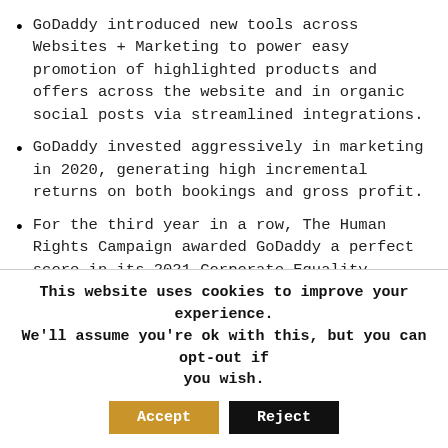GoDaddy introduced new tools across Websites + Marketing to power easy promotion of highlighted products and offers across the website and in organic social posts via streamlined integrations.
GoDaddy invested aggressively in marketing in 2020, generating high incremental returns on both bookings and gross profit.
For the third year in a row, The Human Rights Campaign awarded GoDaddy a perfect score in its 2021 Corporate Equality Index.
In January 2021, GoDaddy launched The Hub, by GoDaddy Pro, allowing website designers and developers to perform their work in WordPress, a platform they know, in a simple, intuitive way that saves them time and money.
This website uses cookies to improve your experience. We'll assume you're ok with this, but you can opt-out if you wish. [Accept] [Reject]